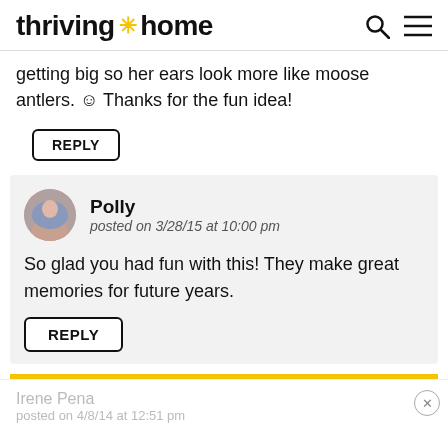thriving * home
getting big so her ears look more like moose antlers. ☺ Thanks for the fun idea!
REPLY
Polly
posted on 3/28/15 at 10:00 pm
So glad you had fun with this! They make great memories for future years.
REPLY
Irene Pena
posted on 4/8/14 at 12:51 pm